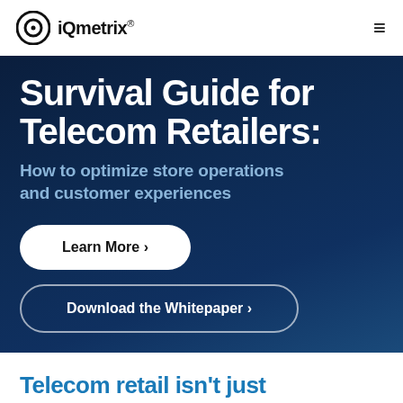iQmetrix®
Survival Guide for Telecom Retailers:
How to optimize store operations and customer experiences
Learn More ›
Download the Whitepaper ›
Telecom retail isn't just